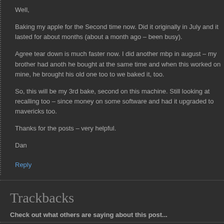Well,
Baking my apple for the Second time now. Did it originally in July and it lasted for about months (about a month ago – been busy).
Agree tear down is much faster now. I did another mbp in august – my brother had anoth he bought at the same time and when this worked on mine, he brought his old one too to we baked it, too.
So, this will be my 3rd bake, second on this machine. Still looking at recalling too – since money on some software and had it upgraded to mavericks too.
Thanks for the posts – very helpful.
Dan
Reply
Trackbacks
Check out what others are saying about this post...